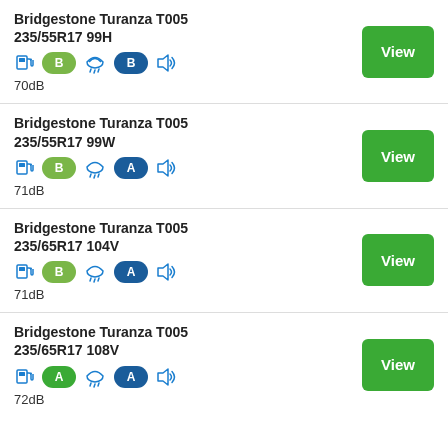Bridgestone Turanza T005 235/55R17 99H — fuel: B, wet: B, noise: 70dB
Bridgestone Turanza T005 235/55R17 99W — fuel: B, wet: A, noise: 71dB
Bridgestone Turanza T005 235/65R17 104V — fuel: B, wet: A, noise: 71dB
Bridgestone Turanza T005 235/65R17 108V — fuel: A, wet: A, noise: 72dB